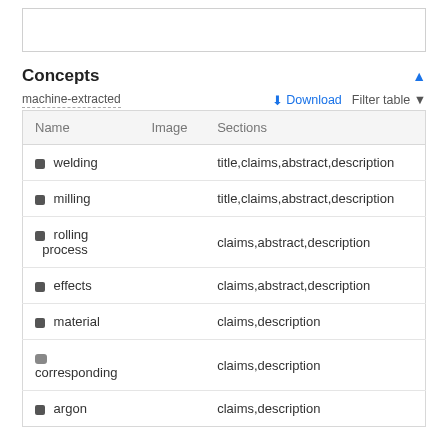Concepts
machine-extracted
| Name | Image | Sections |
| --- | --- | --- |
| welding |  | title,claims,abstract,description |
| milling |  | title,claims,abstract,description |
| rolling process |  | claims,abstract,description |
| effects |  | claims,abstract,description |
| material |  | claims,description |
| corresponding |  | claims,description |
| argon |  | claims,description |